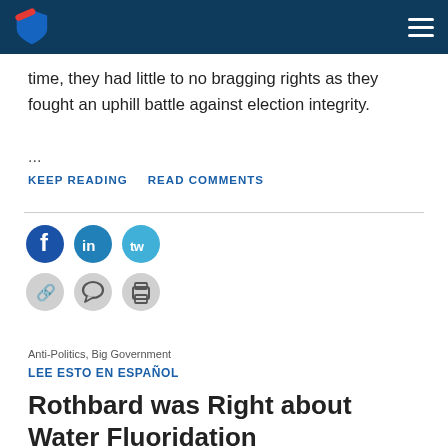Navigation bar with logo and menu
time, they had little to no bragging rights as they fought an uphill battle against election integrity.
...
KEEP READING   READ COMMENTS
[Figure (infographic): Social share icons: Facebook (dark blue), LinkedIn (blue), Twitter (light blue), and secondary action icons: link/copy, comment, print]
Anti-Politics, Big Government
LEE ESTO EN ESPAÑOL
Rothbard was Right about Water Fluoridation